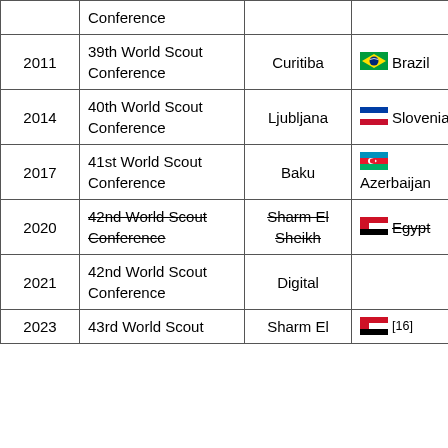| Year | Conference | City | Country | Count |
| --- | --- | --- | --- | --- |
|  | Conference (partial) |  |  |  |
| 2011 | 39th World Scout Conference | Curitiba | Brazil | 138 |
| 2014 | 40th World Scout Conference | Ljubljana | Slovenia | 143 |
| 2017 | 41st World Scout Conference | Baku | Azerbaijan | 169 |
| 2020 | 42nd World Scout Conference (strikethrough) | Sharm El Sheikh (strikethrough) | Egypt | Pos |
| 2021 | 42nd World Scout Conference | Digital |  | 170 |
| 2023 | 43rd World Scout Conference (partial) | Sharm El (partial) | Egypt |  |